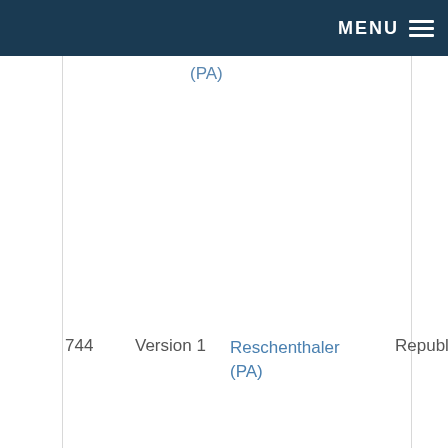MENU
(PA)
744   Version 1   Reschenthaler (PA)   Republic...